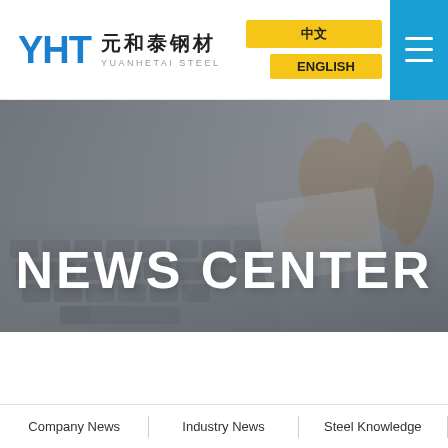[Figure (logo): YHT Yuanhetai Steel logo with blue letters Y H T and Chinese text 元和泰钢材, subtitle YUANHETAI STEEL]
中文
ENGLISH
[Figure (photo): Hands typing on a laptop keyboard, grayscale/muted tones, background photo for news center hero]
NEWS CENTER
Company News | Industry News | Steel Knowledge |